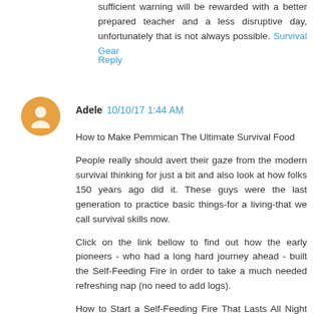sufficient warning will be rewarded with a better prepared teacher and a less disruptive day, unfortunately that is not always possible. Survival Gear
Reply
Adele 10/10/17 1:44 AM
How to Make Pemmican The Ultimate Survival Food
People really should avert their gaze from the modern survival thinking for just a bit and also look at how folks 150 years ago did it. These guys were the last generation to practice basic things-for a living-that we call survival skills now.
Click on the link bellow to find out how the early pioneers - who had a long hard journey ahead - built the Self-Feeding Fire in order to take a much needed refreshing nap (no need to add logs).
How to Start a Self-Feeding Fire That Lasts All Night Long